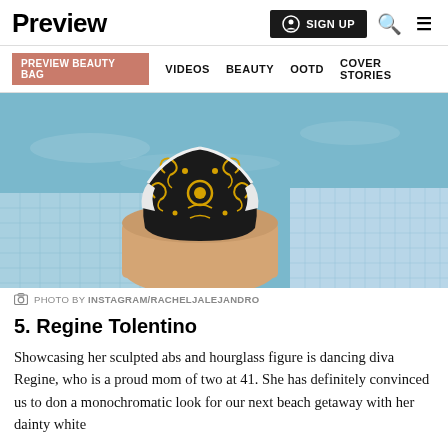Preview | SIGN UP
PREVIEW BEAUTY BAG  VIDEOS  BEAUTY  OOTD  COVER STORIES
[Figure (photo): Close-up photo of a person wearing a black, white and gold baroque-patterned high-waist swimsuit bottom, sitting at the edge of a swimming pool with blue mosaic tiles visible.]
PHOTO BY INSTAGRAM/RACHELJALEJANDRO
5. Regine Tolentino
Showcasing her sculpted abs and hourglass figure is dancing diva Regine, who is a proud mom of two at 41. She has definitely convinced us to don a monochromatic look for our next beach getaway with her dainty white